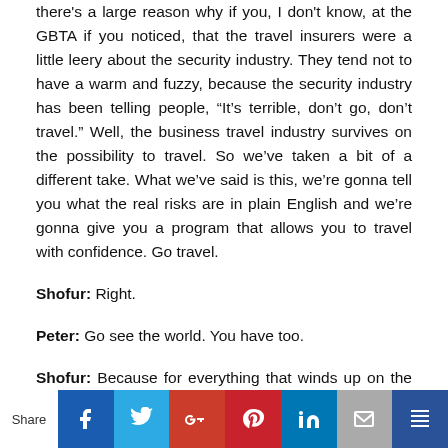there's a large reason why if you, I don't know, at the GBTA if you noticed, that the travel insurers were a little leery about the security industry. They tend not to have a warm and fuzzy, because the security industry has been telling people, “It’s terrible, don’t go, don’t travel.” Well, the business travel industry survives on the possibility to travel. So we’ve taken a bit of a different take. What we’ve said is this, we’re gonna tell you what the real risks are in plain English and we’re gonna give you a program that allows you to travel with confidence. Go travel.
Shofur: Right.
Peter: Go see the world. You have too.
Shofur: Because for everything that winds up on the evening news, and I don’t have the statistic to support